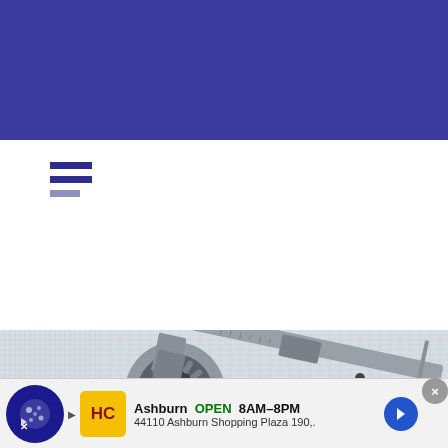[Figure (illustration): Hamburger/menu icon with three horizontal bars (two dark blue, one lighter/shorter) representing a navigation menu]
[Figure (photo): A tapered roller bearing and a metallic vernier caliper placed on graph/grid paper, shot from above. A second ball bearing is partially visible in the lower left corner.]
Durham, NC News
Ashburn  OPEN  8AM–8PM
44110 Ashburn Shopping Plaza 190,..